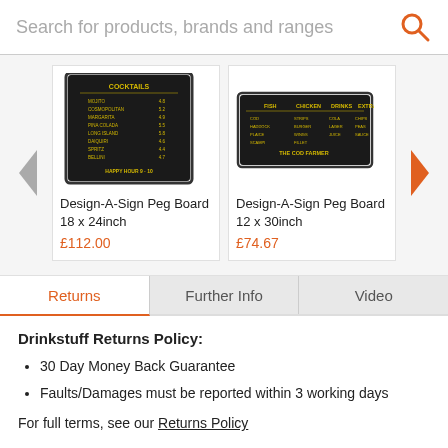Search for products, brands and ranges
[Figure (photo): Design-A-Sign Peg Board 18 x 24inch product image - black board with yellow lettering showing cocktails menu]
Design-A-Sign Peg Board 18 x 24inch
£112.00
[Figure (photo): Design-A-Sign Peg Board 12 x 30inch product image - black board with yellow menu text for The Cod Father]
Design-A-Sign Peg Board 12 x 30inch
£74.67
Returns | Further Info | Video
Drinkstuff Returns Policy:
30 Day Money Back Guarantee
Faults/Damages must be reported within 3 working days
For full terms, see our Returns Policy